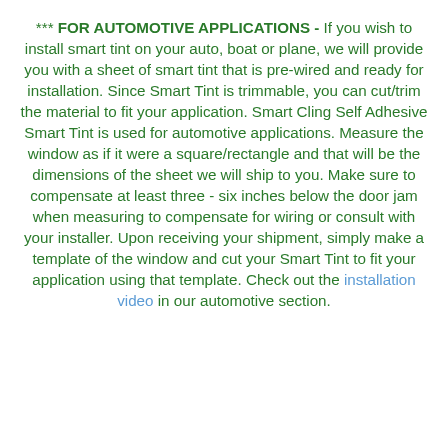*** FOR AUTOMOTIVE APPLICATIONS - If you wish to install smart tint on your auto, boat or plane, we will provide you with a sheet of smart tint that is pre-wired and ready for installation. Since Smart Tint is trimmable, you can cut/trim the material to fit your application. Smart Cling Self Adhesive Smart Tint is used for automotive applications. Measure the window as if it were a square/rectangle and that will be the dimensions of the sheet we will ship to you. Make sure to compensate at least three - six inches below the door jam when measuring to compensate for wiring or consult with your installer. Upon receiving your shipment, simply make a template of the window and cut your Smart Tint to fit your application using that template. Check out the installation video in our automotive section.